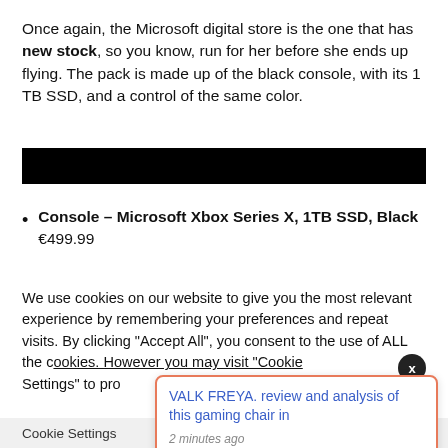Once again, the Microsoft digital store is the one that has new stock, so you know, run for her before she ends up flying. The pack is made up of the black console, with its 1 TB SSD, and a control of the same color.
[Figure (other): Black horizontal banner/bar image]
Console – Microsoft Xbox Series X, 1TB SSD, Black €499.99
We use cookies on our website to give you the most relevant experience by remembering your preferences and repeat visits. By clicking "Accept All", you consent to the use of ALL the cookies. However you may visit "Cookie Settings" to pro
Cookie Settings
VALK FREYA. review and analysis of this gaming chair in
2 minutes ago